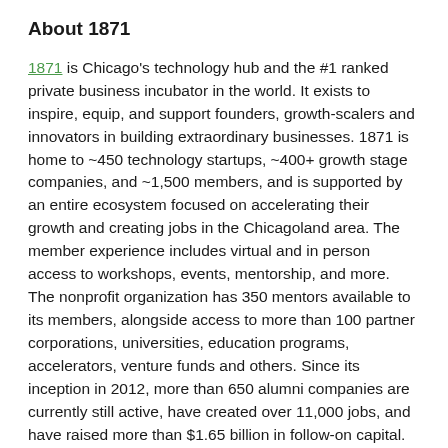About 1871
1871 is Chicago's technology hub and the #1 ranked private business incubator in the world. It exists to inspire, equip, and support founders, growth-scalers and innovators in building extraordinary businesses. 1871 is home to ~450 technology startups, ~400+ growth stage companies, and ~1,500 members, and is supported by an entire ecosystem focused on accelerating their growth and creating jobs in the Chicagoland area. The member experience includes virtual and in person access to workshops, events, mentorship, and more. The nonprofit organization has 350 mentors available to its members, alongside access to more than 100 partner corporations, universities, education programs, accelerators, venture funds and others. Since its inception in 2012, more than 650 alumni companies are currently still active, have created over 11,000 jobs, and have raised more than $1.65 billion in follow-on capital.